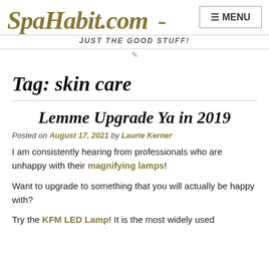SpaHabit.com - MENU
JUST THE GOOD STUFF!
Tag: skin care
Lemme Upgrade Ya in 2019
Posted on August 17, 2021 by Laurie Kerner
I am consistently hearing from professionals who are unhappy with their magnifying lamps!
Want to upgrade to something that you will actually be happy with?
Try the KFM LED Lamp! It is the most widely used